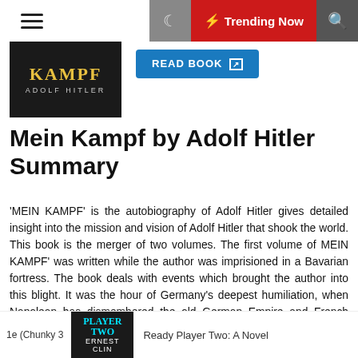☰  🌙  ⚡ Trending Now  🔍
[Figure (illustration): Book cover thumbnail for Mein Kampf by Adolf Hitler — dark background with yellow 'KAMPF' text and 'ADOLF HITLER' lettering]
READ BOOK
Mein Kampf by Adolf Hitler Summary
'MEIN KAMPF' is the autobiography of Adolf Hitler gives detailed insight into the mission and vision of Adolf Hitler that shook the world. This book is the merger of two volumes. The first volume of MEIN KAMPF' was written while the author was imprisioned in a Bavarian fortress. The book deals with events which brought the author into this blight. It was the hour of Germany's deepest humiliation, when Napolean has dismembered the old German Empire and French soldiers occupied almost the whole of Germony. The books narrates how Hitler was arrested with several of his comrades and imprisoned in the fortress of Landsberg on the river Lech. During this period only the author wrote the first volume of MEIN KAMPF. The Second volume of MEIN KAMPF was
1e (Chunky 3   Ready Player Two: A Novel